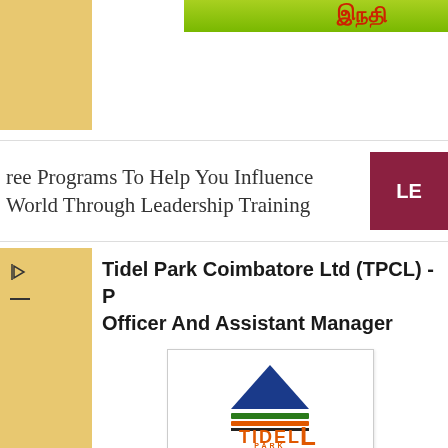[Figure (other): Top banner with green gradient bar and golden/yellow sidebar]
ree Programs To Help You Influence World Through Leadership Training
[Figure (logo): Dark red/maroon button with text LE (cut off)]
Tidel Park Coimbatore Ltd (TPCL) - P... Officer And Assistant Manager
[Figure (logo): Tidel Park logo: blue triangle mountain shape above green and orange stripes, with orange text TIDEL PARK]
Tidel Park Coimbatore Ltd (
TCPL Office, ELCOSEZ, 1s
Vilankurichi, Aerodrome 
Coimbatore - 641